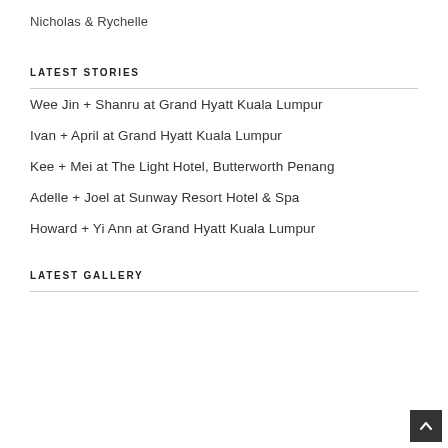Nicholas & Rychelle
LATEST STORIES
Wee Jin + Shanru at Grand Hyatt Kuala Lumpur
Ivan + April at Grand Hyatt Kuala Lumpur
Kee + Mei at The Light Hotel, Butterworth Penang
Adelle + Joel at Sunway Resort Hotel & Spa
Howard + Yi Ann at Grand Hyatt Kuala Lumpur
LATEST GALLERY